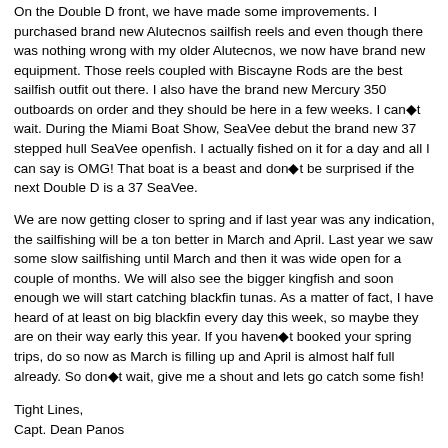On the Double D front, we have made some improvements. I purchased brand new Alutecnos sailfish reels and even though there was nothing wrong with my older Alutecnos, we now have brand new equipment. Those reels coupled with Biscayne Rods are the best sailfish outfit out there. I also have the brand new Mercury 350 outboards on order and they should be here in a few weeks. I can◆t wait. During the Miami Boat Show, SeaVee debut the brand new 37 stepped hull SeaVee openfish. I actually fished on it for a day and all I can say is OMG! That boat is a beast and don◆t be surprised if the next Double D is a 37 SeaVee.
We are now getting closer to spring and if last year was any indication, the sailfishing will be a ton better in March and April. Last year we saw some slow sailfishing until March and then it was wide open for a couple of months. We will also see the bigger kingfish and soon enough we will start catching blackfin tunas. As a matter of fact, I have heard of at least on big blackfin every day this week, so maybe they are on their way early this year. If you haven◆t booked your spring trips, do so now as March is filling up and April is almost half full already. So don◆t wait, give me a shout and lets go catch some fish!
Tight Lines,
Capt. Dean Panos